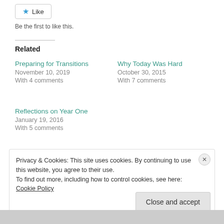[Figure (other): Like button with blue star icon and text 'Like']
Be the first to like this.
Related
Preparing for Transitions
November 10, 2019
With 4 comments
Why Today Was Hard
October 30, 2015
With 7 comments
Reflections on Year One
January 19, 2016
With 5 comments
Privacy & Cookies: This site uses cookies. By continuing to use this website, you agree to their use.
To find out more, including how to control cookies, see here: Cookie Policy
Close and accept